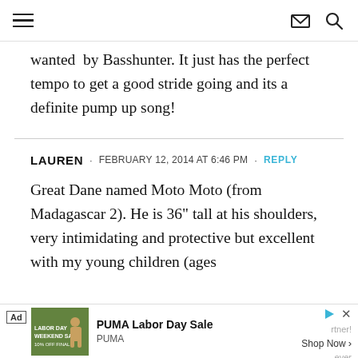[hamburger menu] [envelope icon] [search icon]
wanted  by Basshunter. It just has the perfect tempo to get a good stride going and its a definite pump up song!
LAUREN · FEBRUARY 12, 2014 AT 6:46 PM · REPLY
Great Dane named Moto Moto (from Madagascar 2). He is 36" tall at his shoulders, very intimidating and protective but excellent with my young children (ages
Ad PUMA Labor Day Sale PUMA Shop Now >